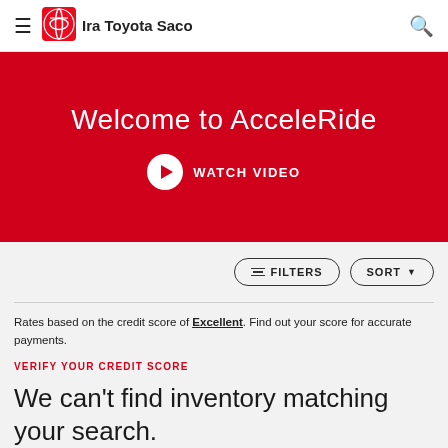Ira Toyota Saco
Welcome to AcceleRide
WATCH VIDEO
FILTERS   SORT
Rates based on the credit score of Excellent. Find out your score for accurate payments.
VERIFY YOUR CREDIT SCORE
We can't find inventory matching your search.